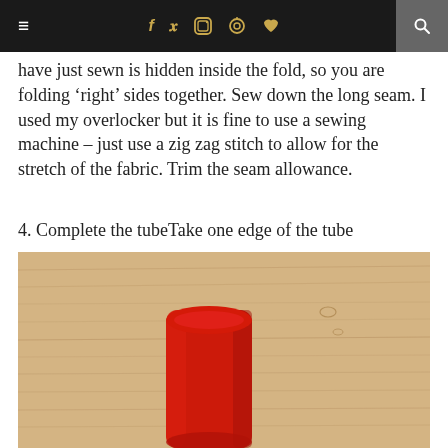≡  f  y  ⊡  ⊕  ♥  🔍
have just sewn is hidden inside the fold, so you are folding 'right' sides together. Sew down the long seam. I used my overlocker but it is fine to use a sewing machine – just use a zig zag stitch to allow for the stretch of the fabric. Trim the seam allowance.
4. Complete the tubeTake one edge of the tube
[Figure (photo): A red fabric tube lying on a light wood floor, photographed from above. The tube is roughly rectangular, placed vertically in the lower-center portion of the image.]